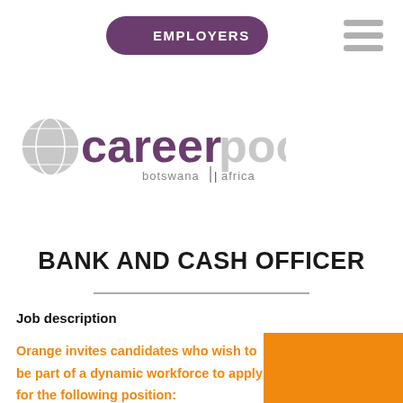EMPLOYERS
[Figure (logo): Careerplool logo with globe icon and text 'carerpool botswana | africa']
BANK AND CASH OFFICER
Job description
Orange invites candidates who wish to be part of a dynamic workforce to apply for the following position: